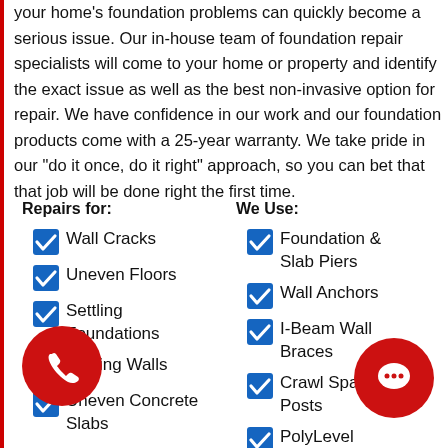your home's foundation problems can quickly become a serious issue. Our in-house team of foundation repair specialists will come to your home or property and identify the exact issue as well as the best non-invasive option for repair. We have confidence in our work and our foundation products come with a 25-year warranty. We take pride in our "do it once, do it right" approach, so you can bet that that job will be done right the first time.
Repairs for:
Wall Cracks
Uneven Floors
Settling Foundations
Bowing Walls
Uneven Concrete Slabs
We Use:
Foundation & Slab Piers
Wall Anchors
I-Beam Wall Braces
Crawl Space J Posts
PolyLevel